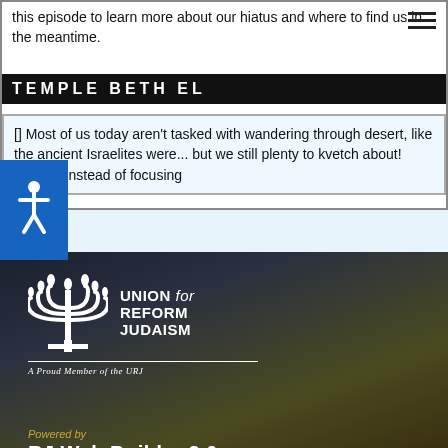this episode to learn more about our hiatus and where to find us in the meantime.
TEMPLE BETH EL
[] Most of us today aren't tasked with wandering through desert, like the ancient Israelites were... but we still plenty to kvetch about! What if, instead of focusing
[Figure (logo): Union for Reform Judaism logo with menorah icon and text 'UNION for REFORM JUDAISM', 'A Proud Member of the URJ']
Powered by
RJ Web Builder 3.0